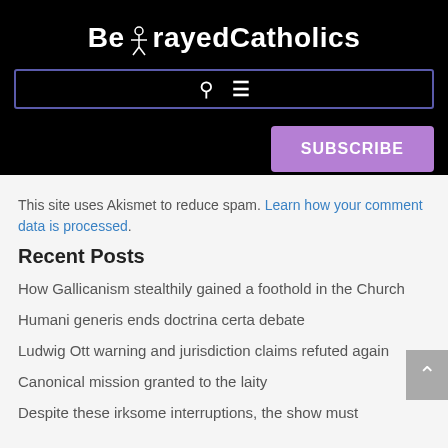BetrayedCatholics
This site uses Akismet to reduce spam. Learn how your comment data is processed.
Recent Posts
How Gallicanism stealthily gained a foothold in the Church
Humani generis ends doctrina certa debate
Ludwig Ott warning and jurisdiction claims refuted again
Canonical mission granted to the laity
Despite these irksome interruptions, the show must